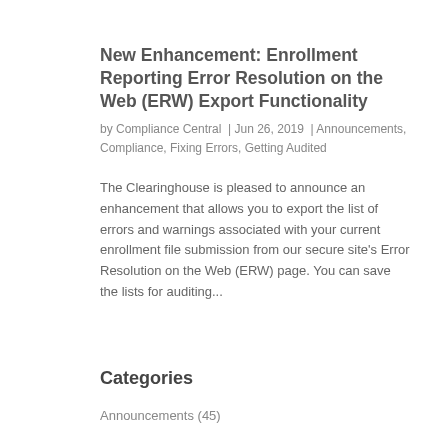New Enhancement: Enrollment Reporting Error Resolution on the Web (ERW) Export Functionality
by Compliance Central | Jun 26, 2019 | Announcements, Compliance, Fixing Errors, Getting Audited
The Clearinghouse is pleased to announce an enhancement that allows you to export the list of errors and warnings associated with your current enrollment file submission from our secure site's Error Resolution on the Web (ERW) page. You can save the lists for auditing...
Categories
Announcements (45)